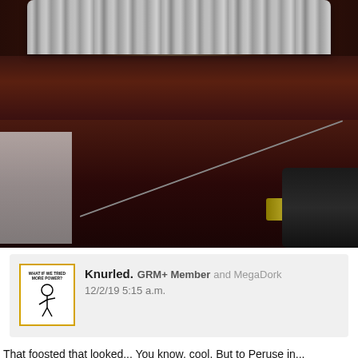[Figure (photo): Close-up photo of a stack of coins on a dark reddish-brown surface (appears to be a wooden ledge or shelf). The lower portion shows what appears to be a wire or cable, a gold/brass colored connector or component, and a black device on the right side.]
Knurled. GRM+ Member and MegaDork 12/2/19 5:15 a.m.
That foosted that looked... You know, cool. But to Peruse in...